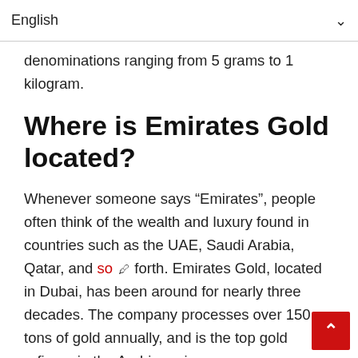English
denominations ranging from 5 grams to 1 kilogram.
Where is Emirates Gold located?
Whenever someone says “Emirates”, people often think of the wealth and luxury found in countries such as the UAE, Saudi Arabia, Qatar, and so forth. Emirates Gold, located in Dubai, has been around for nearly three decades. The company processes over 150 tons of gold annually, and is the top gold refinery in the Arabic region.